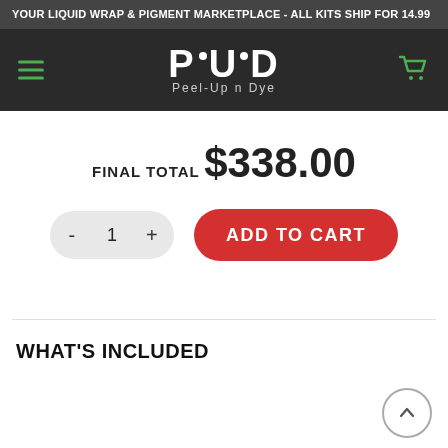YOUR LIQUID WRAP & PIGMENT MARKETPLACE - ALL KITS SHIP FOR 14.99
[Figure (logo): Peel-Up n Dye logo with hamburger menu icon on left and cart icon on right, white text on dark background]
FINAL TOTAL $338.00
[Figure (other): Quantity selector showing minus button, 1, plus button and red Add to Cart button]
WHAT'S INCLUDED